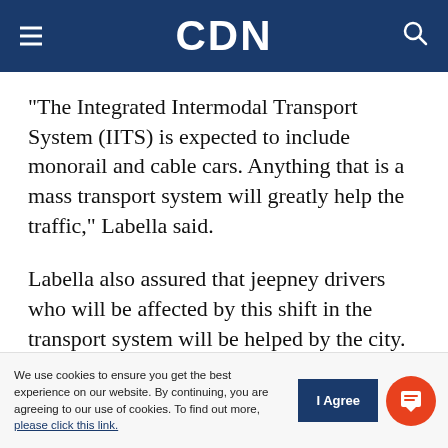CDN
“The Integrated Intermodal Transport System (IITS) is expected to include monorail and cable cars. Anything that is a mass transport system will greatly help the traffic,” Labella said.
Labella also assured that jeepney drivers who will be affected by this shift in the transport system will be helped by the city.
He said those jeepney drivers who will lose their franchises will undergo training so they can find
We use cookies to ensure you get the best experience on our website. By continuing, you are agreeing to our use of cookies. To find out more, please click this link.